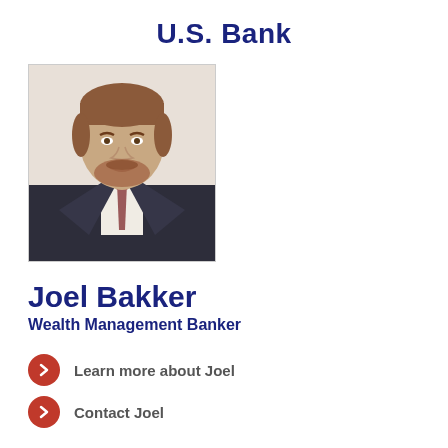U.S. Bank
[Figure (photo): Professional headshot of Joel Bakker, a man with reddish-brown hair and beard wearing a dark suit with a tie, against a white background]
Joel Bakker
Wealth Management Banker
Learn more about Joel
Contact Joel